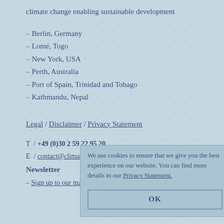climate change enabling sustainable development
Berlin, Germany
Lomé, Togo
New York, USA
Perth, Australia
Port of Spain, Trinidad and Tobago
Kathmandu, Nepal
Legal / Disclaimer / Privacy Statement
T  /  +49 (0)30 2 59 22 95 20
E  /  contact@climateanalytics.org
Newsletter
Sign up to our mailing list
We use cookies to ensure that we give you the best experience on our website. You can find more details in our Privacy Statement.